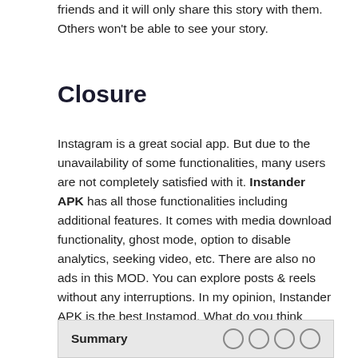friends and it will only share this story with them. Others won't be able to see your story.
Closure
Instagram is a great social app. But due to the unavailability of some functionalities, many users are not completely satisfied with it. Instander APK has all those functionalities including additional features. It comes with media download functionality, ghost mode, option to disable analytics, seeking video, etc. There are also no ads in this MOD. You can explore posts & reels without any interruptions. In my opinion, Instander APK is the best Instamod. What do you think about it? Share your thoughts in the comments.
| Summary |  |
| --- | --- |